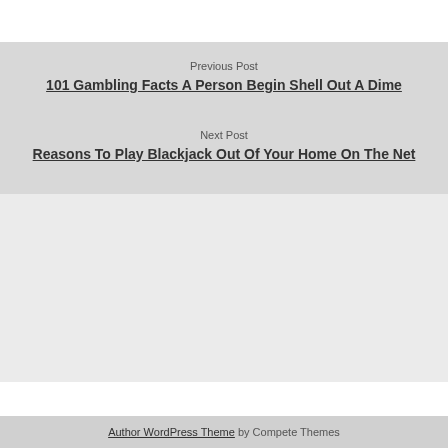Previous Post
101 Gambling Facts A Person Begin Shell Out A Dime
Next Post
Reasons To Play Blackjack Out Of Your Home On The Net
Author WordPress Theme by Compete Themes